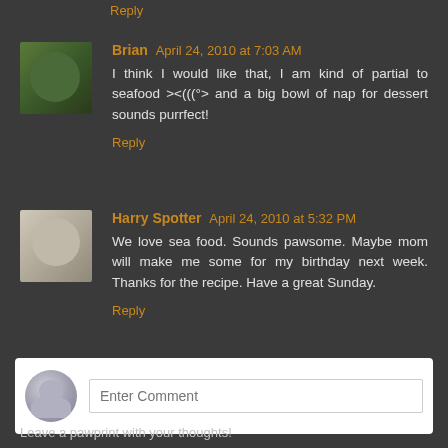Reply
Brian April 24, 2010 at 7:03 AM
I think I would like that, I am kind of partial to seafood ><(((°> and a big bowl of nap for dessert sounds purrfect!
Reply
Harry Spotter April 24, 2010 at 5:32 PM
We love sea food. Sounds pawsome. Maybe mom will make me some for my birthday next week. Thanks for the recipe. Have a great Sunday.
Reply
Enter Comment
Leave a pawprint with your thoughts!